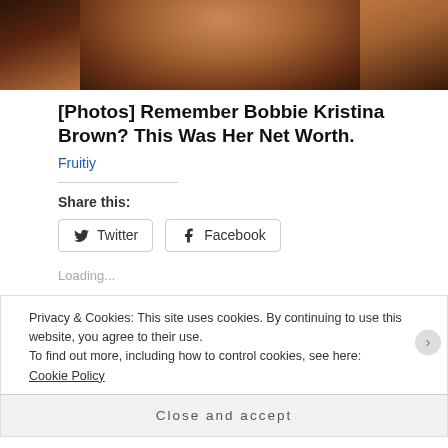[Figure (photo): Top portion of a photo showing a person with dark hair]
[Photos] Remember Bobbie Kristina Brown? This Was Her Net Worth.
Fruitiy
Share this:
Twitter Facebook
Loading...
Privacy & Cookies: This site uses cookies. By continuing to use this website, you agree to their use.
To find out more, including how to control cookies, see here: Cookie Policy
Close and accept